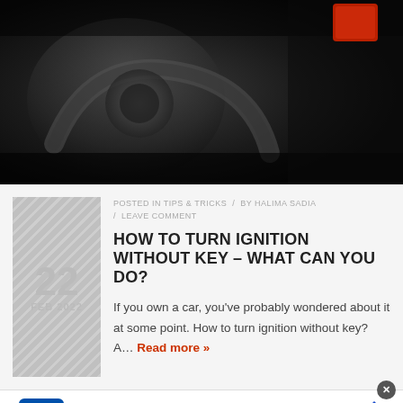[Figure (photo): Blurry black and white close-up photo of car dashboard/ignition area with a red sticker/tag visible in the top right corner]
POSTED IN TIPS & TRICKS  /  BY HALIMA SADIA  /  LEAVE COMMENT
HOW TO TURN IGNITION WITHOUT KEY – WHAT CAN YOU DO?
If you own a car, you've probably wondered about it at some point. How to turn ignition without key? A… Read more »
[Figure (other): Lidl advertisement banner: Better Food. Betterer Prices. Lidl — with Lidl logo and navigation arrow icon]